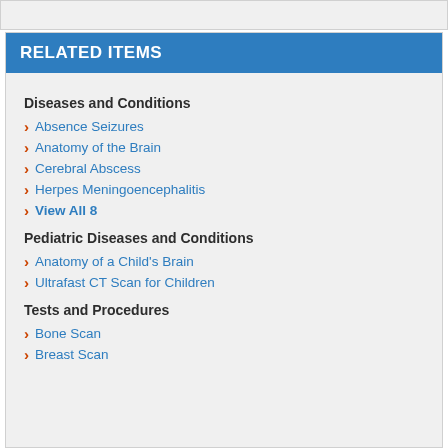RELATED ITEMS
Diseases and Conditions
Absence Seizures
Anatomy of the Brain
Cerebral Abscess
Herpes Meningoencephalitis
View All 8
Pediatric Diseases and Conditions
Anatomy of a Child's Brain
Ultrafast CT Scan for Children
Tests and Procedures
Bone Scan
Breast Scan